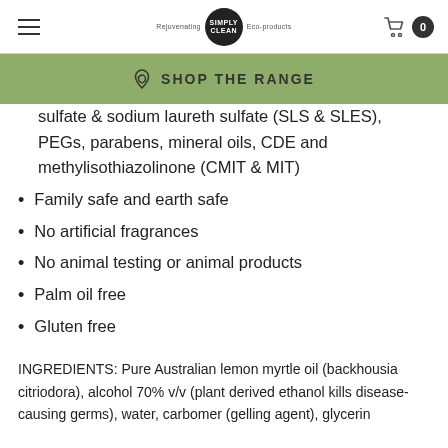SIMPLY CLEAN
SHOP THE RANGE
sulfate & sodium laureth sulfate (SLS & SLES), PEGs, parabens, mineral oils, CDE and methylisothiazolinone (CMIT & MIT)
Family safe and earth safe
No artificial fragrances
No animal testing or animal products
Palm oil free
Gluten free
INGREDIENTS: Pure Australian lemon myrtle oil (backhousia citriodora), alcohol 70% v/v (plant derived ethanol kills disease-causing germs), water, carbomer (gelling agent), glycerin